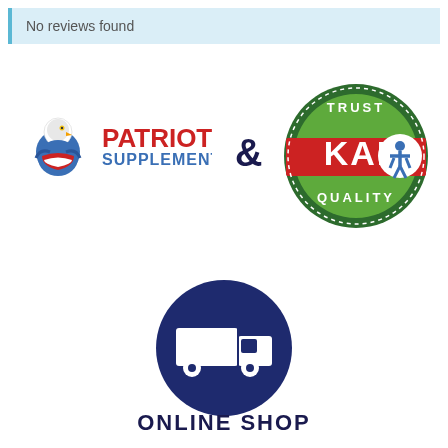No reviews found
[Figure (logo): Patriot Supplements logo with eagle mascot and red/blue text]
&
[Figure (logo): KAI Trust Quality circular badge logo in green and red]
[Figure (illustration): Dark navy blue circle with white delivery truck icon]
ONLINE SHOP